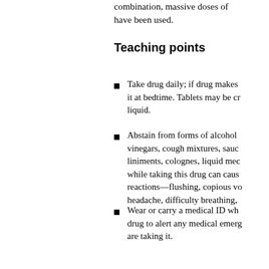combination, massive doses of have been used.
Teaching points
Take drug daily; if drug makes it at bedtime. Tablets may be crushed liquid.
Abstain from forms of alcohol vinegars, cough mixtures, sauces, liniments, colognes, liquid medicines while taking this drug can cause reactions—flushing, copious vomiting, headache, difficulty breathing,
Wear or carry a medical ID while taking drug to alert any medical emergency that are taking it.
Have periodic blood tests while taking it its effects on the liver.
You may experience these side effects: headache, fatigue, restlessness,